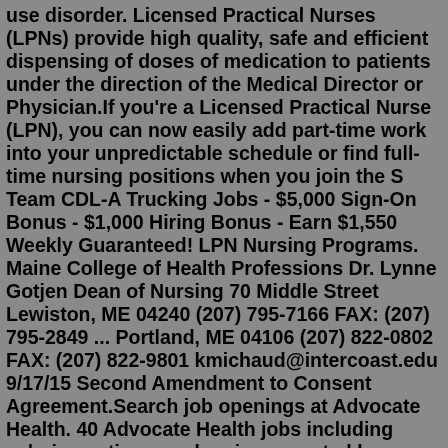use disorder. Licensed Practical Nurses (LPNs) provide high quality, safe and efficient dispensing of doses of medication to patients under the direction of the Medical Director or Physician.If you're a Licensed Practical Nurse (LPN), you can now easily add part-time work into your unpredictable schedule or find full-time nursing positions when you join the S Team CDL-A Trucking Jobs - $5,000 Sign-On Bonus - $1,000 Hiring Bonus - Earn $1,550 Weekly Guaranteed! LPN Nursing Programs. Maine College of Health Professions Dr. Lynne Gotjen Dean of Nursing 70 Middle Street Lewiston, ME 04240 (207) 795-7166 FAX: (207) 795-2849 ... Portland, ME 04106 (207) 822-0802 FAX: (207) 822-9801 kmichaud@intercoast.edu 9/17/15 Second Amendment to Consent Agreement.Search job openings at Advocate Health. 40 Advocate Health jobs including salaries, ratings, and reviews, posted by Advocate Health employees. ... Portland, OR Easy Apply30d+ $24-$26 Per Hour (Employer Est.) Show Salary Details... LPN (Licensed Practical Nurse)